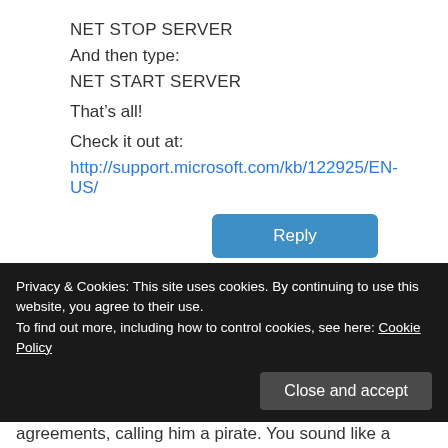NET STOP SERVER
And then type:
NET START SERVER
That’s all!
Check it out at:
http://support.microsoft.com/kb/122925/EN-US/
Reply
RAJ on 12 January 2015 at 16:02
Privacy & Cookies: This site uses cookies. By continuing to use this website, you agree to their use.
To find out more, including how to control cookies, see here: Cookie Policy
Close and accept
agreements, calling him a pirate. You sound like a